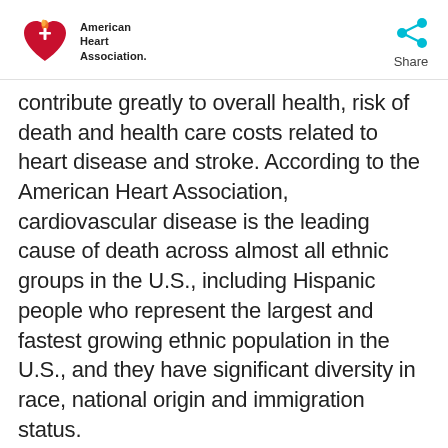American Heart Association. Share
contribute greatly to overall health, risk of death and health care costs related to heart disease and stroke. According to the American Heart Association, cardiovascular disease is the leading cause of death across almost all ethnic groups in the U.S., including Hispanic people who represent the largest and fastest growing ethnic population in the U.S., and they have significant diversity in race, national origin and immigration status.
“Even with continued efforts to eliminate disparities and achieve health equity, our